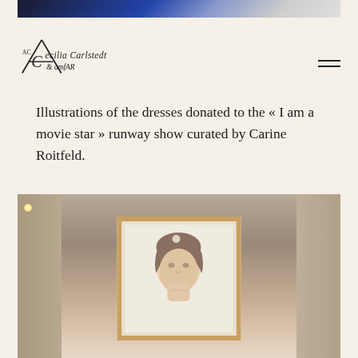[Figure (photo): Top partial photo showing fashion/clothing items including blue garment against light background]
[Figure (logo): AC Cecilia Carlstedt & amfAR combined logo with decorative serif typography and geometric A-frame symbol]
Illustrations of the dresses donated to the « I am a movie star » runway show curated by Carine Roitfeld.
[Figure (photo): Gallery interior photo showing a framed portrait artwork (minimalist face illustration) hanging on a beige wall, with warm wood frame, gallery lighting, and partial walls visible on left and right]